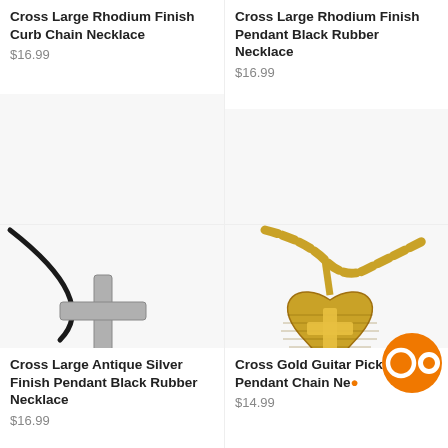Cross Large Rhodium Finish Curb Chain Necklace
$16.99
[Figure (photo): Silver cross pendant on black rubber cord necklace]
Cross Large Rhodium Finish Pendant Black Rubber Necklace
$16.99
[Figure (photo): Gold heart-shaped pendant with cross on gold chain necklace]
Cross Large Antique Silver Finish Pendant Black Rubber Necklace
$16.99
Cross Gold Guitar Pick Pendant Chain Necklace
$14.99